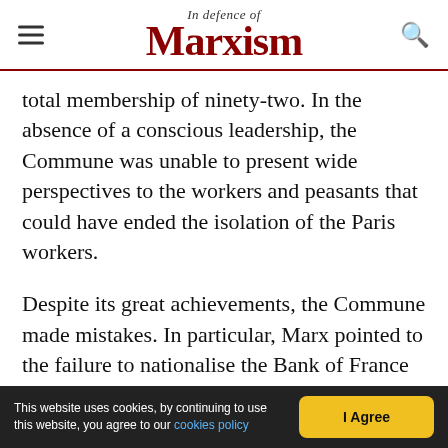In Defence of Marxism
total membership of ninety-two. In the absence of a conscious leadership, the Commune was unable to present wide perspectives to the workers and peasants that could have ended the isolation of the Paris workers.
Despite its great achievements, the Commune made mistakes. In particular, Marx pointed to the failure to nationalise the Bank of France and march against the centre of the counterrevolution in Versailles. The working class paid a terrible price for these mistakes. The government in Versailles was given
This website uses cookies, by continuing to use this website, you agree to our cookies policy | I Agree